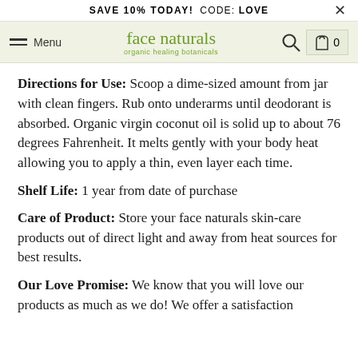SAVE 10% TODAY!  CODE: LOVE
face naturals organic healing botanicals  Menu  🔍  🛍 0
Directions for Use: Scoop a dime-sized amount from jar with clean fingers. Rub onto underarms until deodorant is absorbed. Organic virgin coconut oil is solid up to about 76 degrees Fahrenheit. It melts gently with your body heat allowing you to apply a thin, even layer each time.
Shelf Life: 1 year from date of purchase
Care of Product: Store your face naturals skin-care products out of direct light and away from heat sources for best results.
Our Love Promise: We know that you will love our products as much as we do! We offer a satisfaction